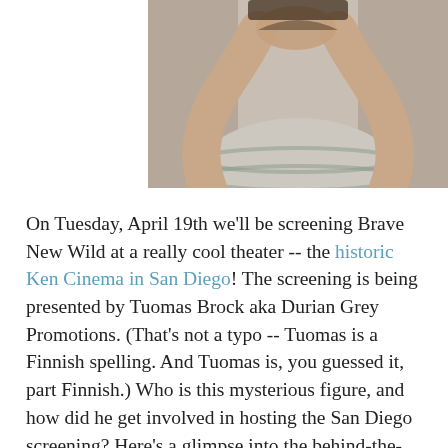[Figure (photo): Photo of a person in a striped shirt with arms raised, viewed from above/front, background is a light wall.]
On Tuesday, April 19th we'll be screening Brave New Wild at a really cool theater -- the historic Ken Cinema in San Diego! The screening is being presented by Tuomas Brock aka Durian Grey Promotions. (That's not a typo -- Tuomas is a Finnish spelling. And Tuomas is, you guessed it, part Finnish.) Who is this mysterious figure, and how did he get involved in hosting the San Diego screening? Here's a glimpse into the behind-the-scenes